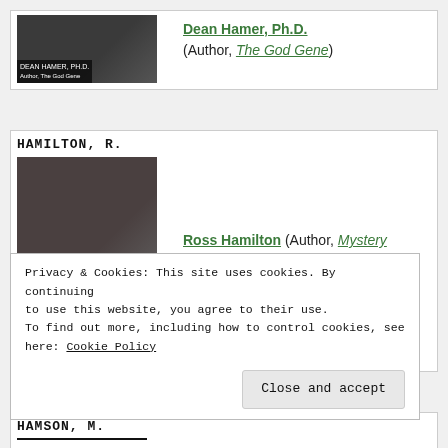[Figure (photo): Partial card showing Dean Hamer photo with name label at bottom]
Dean Hamer, Ph.D. (Author, The God Gene)
HAMILTON, R.
[Figure (photo): Photo of Ross Hamilton, author, with name label at bottom]
Ross Hamilton (Author, Mystery of the Serpent Mound)
HAMSON, M.
Privacy & Cookies: This site uses cookies. By continuing to use this website, you agree to their use. To find out more, including how to control cookies, see here: Cookie Policy
Close and accept